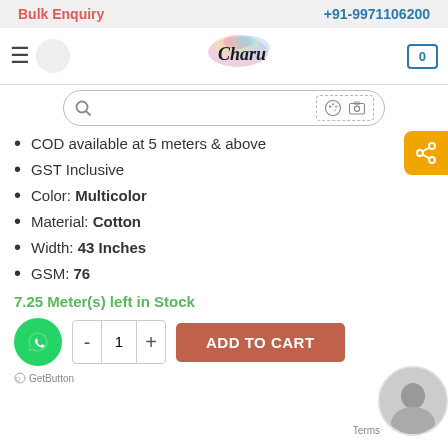Bulk Enquiry   +91-9971106200
[Figure (logo): Charu brand logo with colorful paint splash and cursive Charu text]
[Figure (screenshot): Search bar with search icon, color picker and camera icons]
COD available at 5 meters & above
GST Inclusive
Color: Multicolor
Material: Cotton
Width: 43 Inches
GSM: 76
7.25 Meter(s) left in Stock
[Figure (illustration): WhatsApp floating button (green circle with WhatsApp icon)]
ADD TO CART
GetButton
[Figure (illustration): Orange share button on right side]
[Figure (photo): Profile avatar photo of a woman on bottom right]
Terms